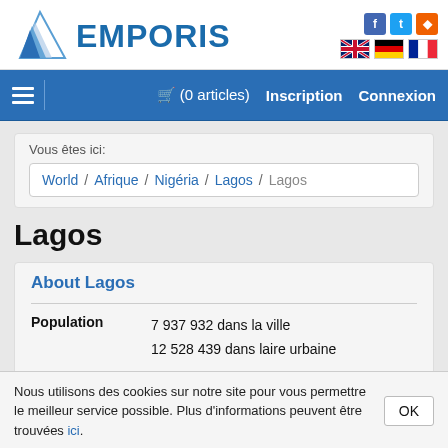[Figure (logo): Emporis logo with blue triangular graphic and EMPORIS text]
Navigation bar with hamburger menu, cart (0 articles), Inscription, Connexion
Vous êtes ici:
World / Afrique / Nigéria / Lagos / Lagos
Lagos
About Lagos
|  |  |
| --- | --- |
| Population | 7 937 932 dans la ville
12 528 439 dans laire urbaine |
Nous utilisons des cookies sur notre site pour vous permettre le meilleur service possible. Plus d'informations peuvent être trouvées ici.